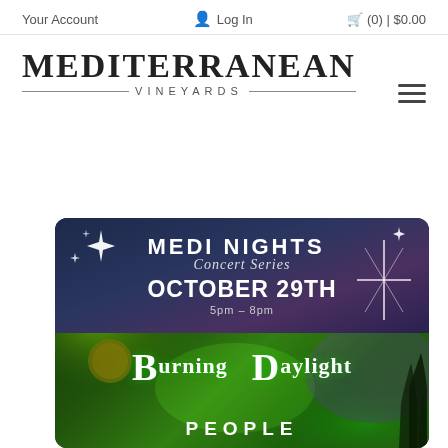Your Account   Log In   (0) | $0.00
[Figure (logo): Mediterranean Vineyards logo with large serif text MEDITERRANEAN and smaller spaced lettering VINEYARDS with horizontal lines on each side]
[Figure (infographic): Medi Nights Concert Series event poster for October 29th 5pm-8pm featuring Burning Daylight People, dark blue-purple top half with sparkle stars and white text, green psychedelic illustrated bottom half]